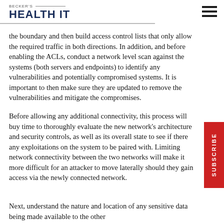BECKER'S HEALTH IT
the boundary and then build access control lists that only allow the required traffic in both directions. In addition, and before enabling the ACLs, conduct a network level scan against the systems (both servers and endpoints) to identify any vulnerabilities and potentially compromised systems. It is important to then make sure they are updated to remove the vulnerabilities and mitigate the compromises.
Before allowing any additional connectivity, this process will buy time to thoroughly evaluate the new network's architecture and security controls, as well as its overall state to see if there any exploitations on the system to be paired with. Limiting network connectivity between the two networks will make it more difficult for an attacker to move laterally should they gain access via the newly connected network.
Next, understand the nature and location of any sensitive data being made available to the other side, and ensure that strong authentication is